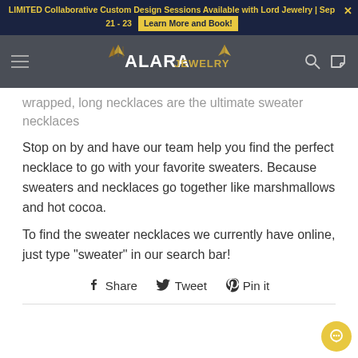LIMITED Collaborative Custom Design Sessions Available with Lord Jewelry | Sep 21 - 23  Learn More and Book!
[Figure (logo): Alara Jewelry logo with ginkgo leaf motifs on dark gray navigation bar]
wrapped, long necklaces are the ultimate sweater necklaces
Stop on by and have our team help you find the perfect necklace to go with your favorite sweaters. Because sweaters and necklaces go together like marshmallows and hot cocoa.
To find the sweater necklaces we currently have online, just type "sweater" in our search bar!
Share  Tweet  Pin it